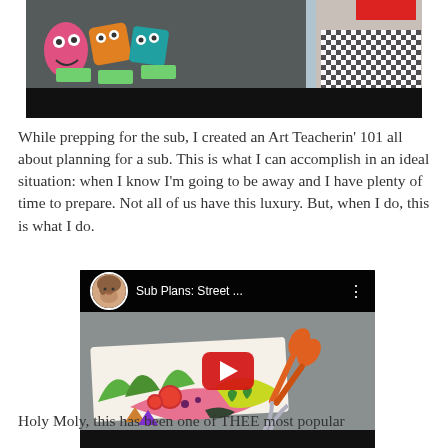[Figure (photo): A teacher standing in front of a bulletin board decorated with colorful monster-themed artwork and sticky notes, partially cropped at top. Lower third is a black bar.]
While prepping for the sub, I created an Art Teacherin' 101 all about planning for a sub. This is what I can accomplish in an ideal situation: when I know I'm going to be away and I have plenty of time to prepare. Not all of us have this luxury. But, when I do, this is what I do.
[Figure (screenshot): YouTube video thumbnail titled 'Sub Plans: Street ...' showing a colorful art project (decorated fish/creature shapes) on a table with orange scissors. Has a circular avatar of the presenter, three-dot menu, and a red play button in the center. Black bar at the bottom.]
Holy Moly, this has been one of THEE most popular